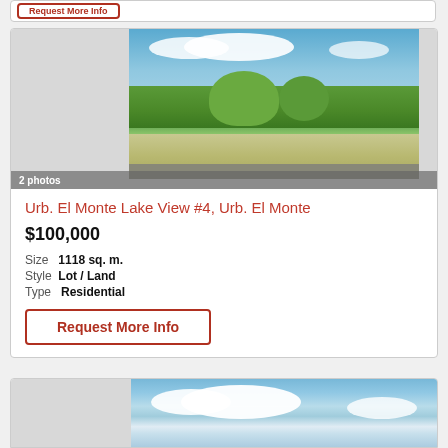[Figure (photo): Exterior photo of vacant land lot with trees and blue sky, labeled '2 photos']
Urb. El Monte Lake View #4, Urb. El Monte
$100,000
Size  1118 sq. m.
Style  Lot / Land
Type  Residential
Request More Info
[Figure (photo): Partial view of another property listing with blue sky photo (bottom of page, cut off)]